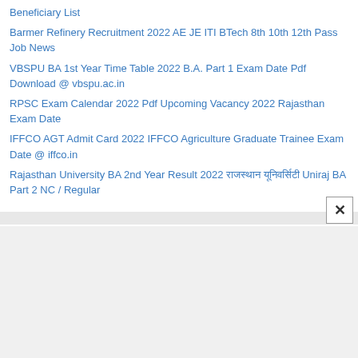Beneficiary List
Barmer Refinery Recruitment 2022 AE JE ITI BTech 8th 10th 12th Pass Job News
VBSPU BA 1st Year Time Table 2022 B.A. Part 1 Exam Date Pdf Download @ vbspu.ac.in
RPSC Exam Calendar 2022 Pdf Upcoming Vacancy 2022 Rajasthan Exam Date
IFFCO AGT Admit Card 2022 IFFCO Agriculture Graduate Trainee Exam Date @ iffco.in
Rajasthan University BA 2nd Year Result 2022 राजस्थान यूनिवर्सिटी Uniraj BA Part 2 NC / Regular
Recruitments
Delhi Police Recruitment